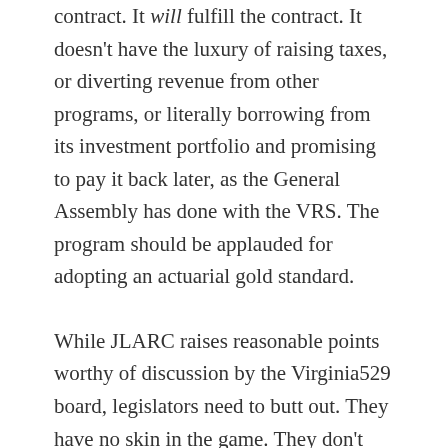contract. It will fulfill the contract. It doesn't have the luxury of raising taxes, or diverting revenue from other programs, or literally borrowing from its investment portfolio and promising to pay it back later, as the General Assembly has done with the VRS. The program should be applauded for adopting an actuarial gold standard.
While JLARC raises reasonable points worthy of discussion by the Virginia529 board, legislators need to butt out. They have no skin in the game. They don't pay a price if Virginia529 fails to fulfill its promises. If lawmakers want to make college tuition more